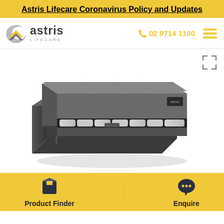Astris Lifecare Coronavirus Policy and Updates
[Figure (logo): Astris Lifecare logo with crescent moon/shield graphic, company name in dark grey, and LIFECARE in small caps below]
02 9714 1100
[Figure (photo): A dark grey/charcoal seat cushion with zipper open, showing white foam/air cells inside. Product appears to be a wheelchair or seating cushion.]
Product Finder
Enquire